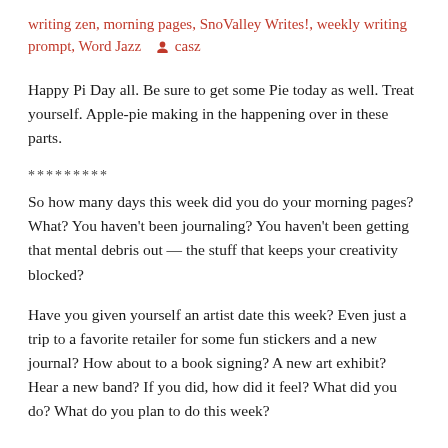writing zen, morning pages, SnoValley Writes!, weekly writing prompt, Word Jazz  ▾ casz
Happy Pi Day all. Be sure to get some Pie today as well. Treat yourself. Apple-pie making in the happening over in these parts.
*********
So how many days this week did you do your morning pages? What? You haven’t been journaling? You haven’t been getting that mental debris out — the stuff that keeps your creativity blocked?
Have you given yourself an artist date this week? Even just a trip to a favorite retailer for some fun stickers and a new journal? How about to a book signing? A new art exhibit? Hear a new band? If you did, how did it feel? What did you do? What do you plan to do this week?